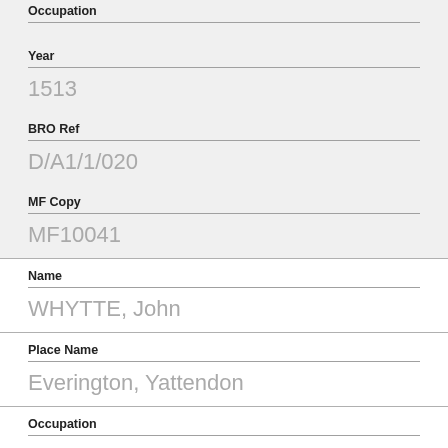Occupation
Year
1513
BRO Ref
D/A1/1/020
MF Copy
MF10041
Name
WHYTTE, John
Place Name
Everington, Yattendon
Occupation